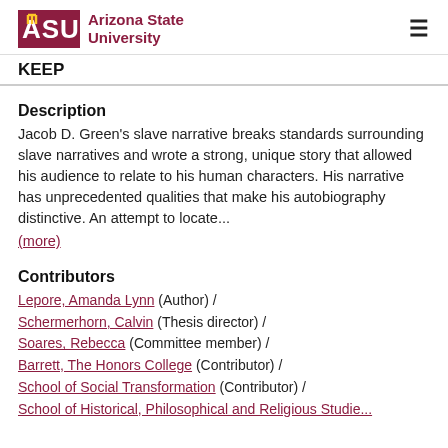Arizona State University — KEEP
Description
Jacob D. Green's slave narrative breaks standards surrounding slave narratives and wrote a strong, unique story that allowed his audience to relate to his human characters. His narrative has unprecedented qualities that make his autobiography distinctive. An attempt to locate...
(more)
Contributors
Lepore, Amanda Lynn (Author) /
Schermerhorn, Calvin (Thesis director) /
Soares, Rebecca (Committee member) /
Barrett, The Honors College (Contributor) /
School of Social Transformation (Contributor) /
School of Historical, Philosophical and Religious Studie...